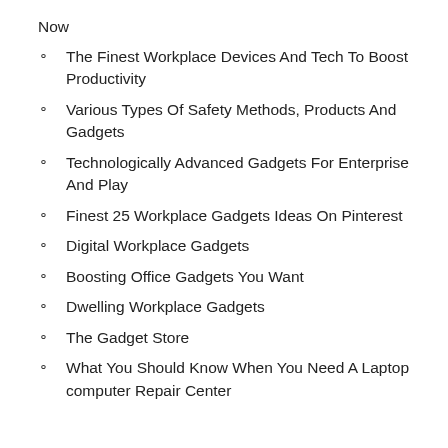Now
The Finest Workplace Devices And Tech To Boost Productivity
Various Types Of Safety Methods, Products And Gadgets
Technologically Advanced Gadgets For Enterprise And Play
Finest 25 Workplace Gadgets Ideas On Pinterest
Digital Workplace Gadgets
Boosting Office Gadgets You Want
Dwelling Workplace Gadgets
The Gadget Store
What You Should Know When You Need A Laptop computer Repair Center